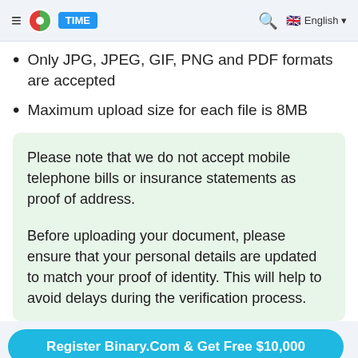TIME — Search | English
Only JPG, JPEG, GIF, PNG and PDF formats are accepted
Maximum upload size for each file is 8MB
Please note that we do not accept mobile telephone bills or insurance statements as proof of address.

Before uploading your document, please ensure that your personal details are updated to match your proof of identity. This will help to avoid delays during the verification process.
Register Binary.Com & Get Free $10,000